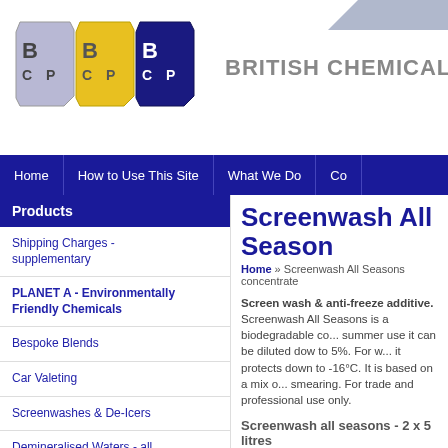[Figure (logo): BCP (British Chemical Products) logo with three overlapping hexagonal-style badges in light purple, yellow, and dark blue, each showing BCP letters]
BRITISH CHEMICAL PROD
Home | How to Use This Site | What We Do | Co...
Products
Shipping Charges - supplementary
PLANET A - Environmentally Friendly Chemicals
Bespoke Blends
Car Valeting
Screenwashes & De-Icers
Demineralised Waters - all grades
Automatic Car Washes & Jetwashes
Swimming Pool Chemicals
Traffic Film Removers and Vehicle Shampoo
Screenwash All Season
Home » Screenwash All Seasons concentrate
Screen wash & anti-freeze additive. Screenwash All Seasons is a biodegradable co... summer use it can be diluted dow to 5%. For w... it protects down to -16°C. It is based on a mix o... smearing. For trade and professional use only.
Screenwash all seasons - 2 x 5 litres
SCW10
To keep costs down this is the smallest pack s... but it is one of the best.
Screenwash all seasons - 4 x 5 litres
SCW20